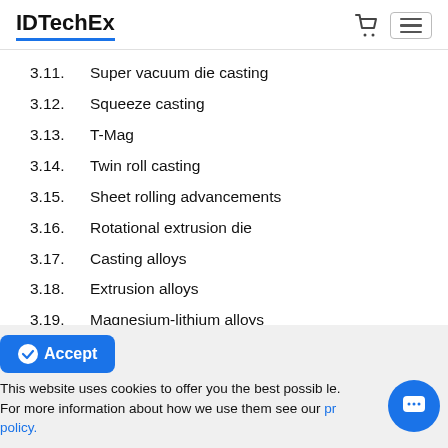IDTechEx
3.11.   Super vacuum die casting
3.12.   Squeeze casting
3.13.   T-Mag
3.14.   Twin roll casting
3.15.   Sheet rolling advancements
3.16.   Rotational extrusion die
3.17.   Casting alloys
3.18.   Extrusion alloys
3.19.   Magnesium-lithium alloys
3.20.   High temperature magnesium alloys
3.21.   Magnesium-rare earth (AE) alloys
This website uses cookies to offer you the best possible. For more information about how we use them see our privacy policy.